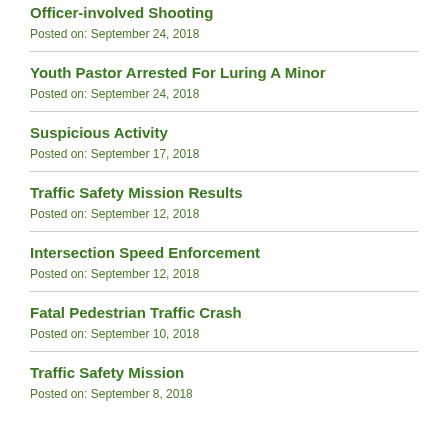Officer-involved Shooting
Posted on: September 24, 2018
Youth Pastor Arrested For Luring A Minor
Posted on: September 24, 2018
Suspicious Activity
Posted on: September 17, 2018
Traffic Safety Mission Results
Posted on: September 12, 2018
Intersection Speed Enforcement
Posted on: September 12, 2018
Fatal Pedestrian Traffic Crash
Posted on: September 10, 2018
Traffic Safety Mission
Posted on: September 8, 2018